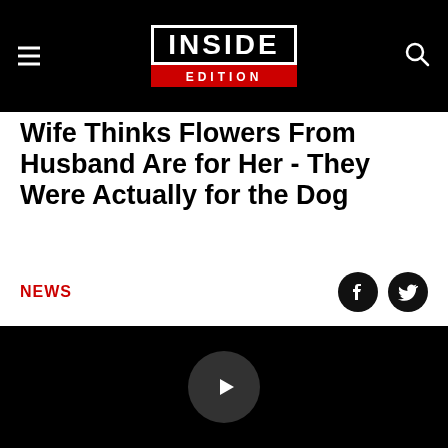INSIDE EDITION
Wife Thinks Flowers From Husband Are for Her - They Were Actually for the Dog
NEWS
[Figure (screenshot): Black video player area with a circular play button in the center]